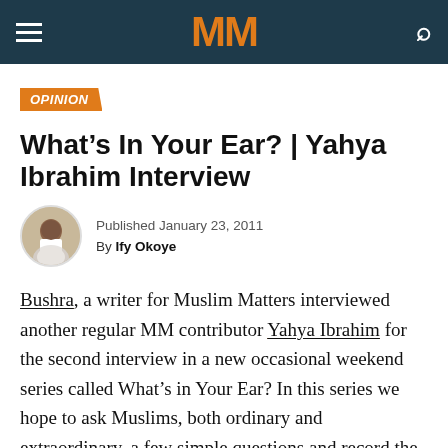MM
OPINION
What’s In Your Ear? | Yahya Ibrahim Interview
Published January 23, 2011
By Ify Okoye
Bushra, a writer for Muslim Matters interviewed another regular MM contributor Yahya Ibrahim for the second interview in a new occasional weekend series called What’s in Your Ear? In this series we hope to ask Muslims, both ordinary and extraordinary, a few simple questions and record the